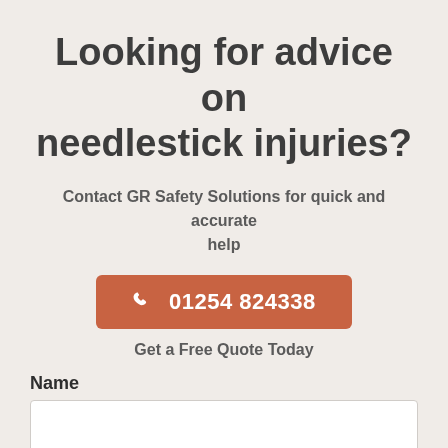Looking for advice on needlestick injuries?
Contact GR Safety Solutions for quick and accurate help
01254 824338
Get a Free Quote Today
Name
[Figure (other): Empty text input field for Name]